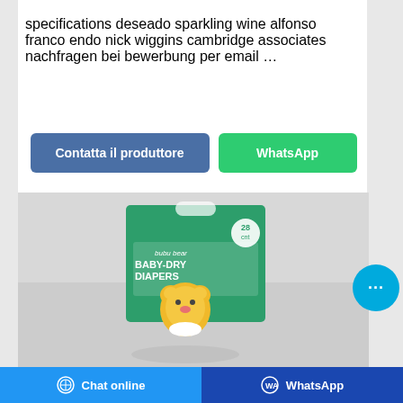specifications deseado sparkling wine alfonso franco endo nick wiggins cambridge associates nachfragen bei bewerbung per email …
Contatta il produttore
WhatsApp
[Figure (photo): Product photo of bubu bear Baby-Dry Diapers box (28 count), green packaging with cartoon bear character, shown on reflective surface]
Chat online   WhatsApp